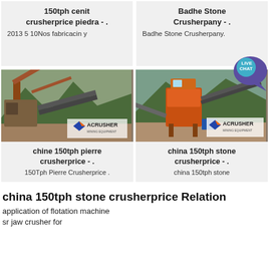150tph cenit crusherprice piedra - .
2013 5 10Nos fabricacin y
Badhe Stone Crusherpany - .
Badhe Stone Crusherpany.
[Figure (photo): Industrial stone crusher machinery on a job site with mountains in background. ACRUSHER Mining Equipment logo visible.]
chine 150tph pierre crusherprice - .
150Tph Pierre Crusherprice .
[Figure (photo): Orange industrial stone crusher/conveyor equipment on a mountain site. ACRUSHER Mining Equipment logo visible.]
china 150tph stone crusherprice - .
china 150tph stone
china 150tph stone crusherprice Relation
application of flotation machine
sr jaw crusher for